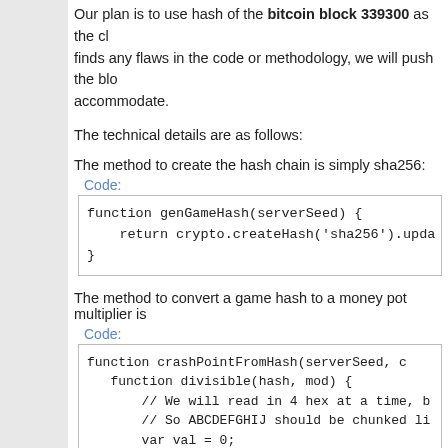Our plan is to use hash of the bitcoin block 339300 as the client seed. If anyone finds any flaws in the code or methodology, we will push the block number to accommodate.
The technical details are as follows:
The method to create the hash chain is simply sha256:
Code:
function genGameHash(serverSeed) {
    return crypto.createHash('sha256').upda
}
The method to convert a game hash to a money pot multiplier is
Code:
function crashPointFromHash(serverSeed, c
  function divisible(hash, mod) {
      // We will read in 4 hex at a time, b
      // So ABCDEFGHIJ should be chunked li
      var val = 0;

      var o = hash.length % 4;
      for (var i = o > 0 ? o - 4 : 0; i < h
        val = ((val << 16) + parseInt(hash.
      }

      return val === 0;
  }